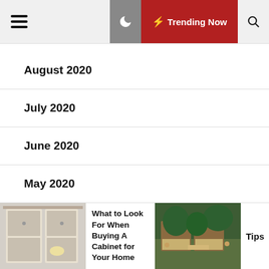≡  🌙  ⚡ Trending Now  🔍
August 2020
July 2020
June 2020
May 2020
April 2020
March 2020
What to Look For When Buying A Cabinet for Your Home
Tips